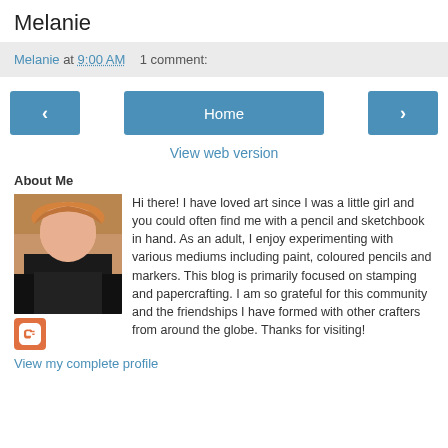Melanie
Melanie at 9:00 AM    1 comment:
< Home >
View web version
About Me
Hi there! I have loved art since I was a little girl and you could often find me with a pencil and sketchbook in hand. As an adult, I enjoy experimenting with various mediums including paint, coloured pencils and markers. This blog is primarily focused on stamping and papercrafting. I am so grateful for this community and the friendships I have formed with other crafters from around the globe. Thanks for visiting!
View my complete profile